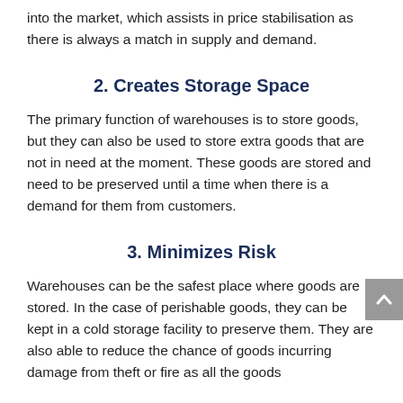into the market, which assists in price stabilisation as there is always a match in supply and demand.
2. Creates Storage Space
The primary function of warehouses is to store goods, but they can also be used to store extra goods that are not in need at the moment. These goods are stored and need to be preserved until a time when there is a demand for them from customers.
3. Minimizes Risk
Warehouses can be the safest place where goods are stored. In the case of perishable goods, they can be kept in a cold storage facility to preserve them. They are also able to reduce the chance of goods incurring damage from theft or fire as all the goods